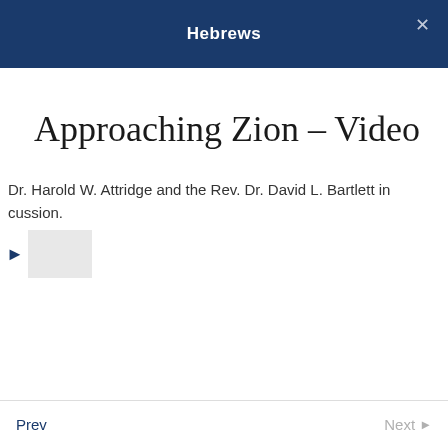Hebrews
Approaching Zion – Video
Dr. Harold W. Attridge and the Rev. Dr. David L. Bartlett in discussion.
[Figure (other): Video play button and video thumbnail placeholder]
Prev  Next ▶